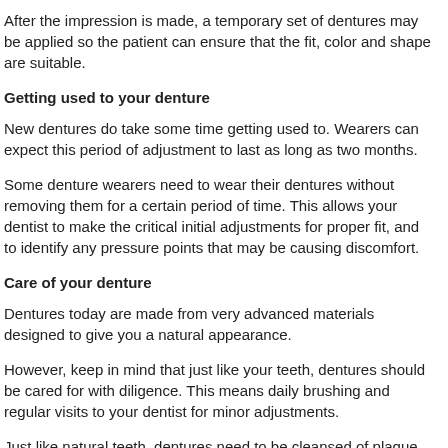After the impression is made, a temporary set of dentures may be applied so the patient can ensure that the fit, color and shape are suitable.
Getting used to your denture
New dentures do take some time getting used to. Wearers can expect this period of adjustment to last as long as two months.
Some denture wearers need to wear their dentures without removing them for a certain period of time. This allows your dentist to make the critical initial adjustments for proper fit, and to identify any pressure points that may be causing discomfort.
Care of your denture
Dentures today are made from very advanced materials designed to give you a natural appearance.
However, keep in mind that just like your teeth, dentures should be cared for with diligence. This means daily brushing and regular visits to your dentist for minor adjustments.
Just like natural teeth, dentures need to be cleansed of plaque, food